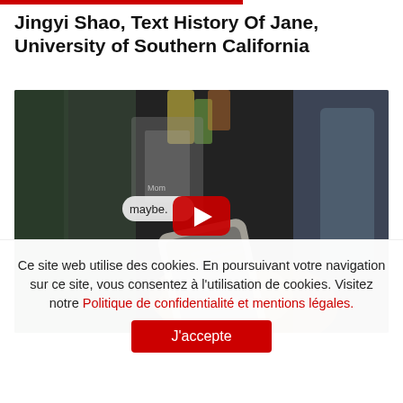Jingyi Shao, Text History Of Jane, University of Southern California
[Figure (screenshot): YouTube video thumbnail showing a person holding an iPhone with a text message bubble reading 'maybe.' overlaid on a blurred background. A red YouTube play button is centered on the image.]
Ce site web utilise des cookies. En poursuivant votre navigation sur ce site, vous consentez à l'utilisation de cookies. Visitez notre Politique de confidentialité et mentions légales.
J'accepte